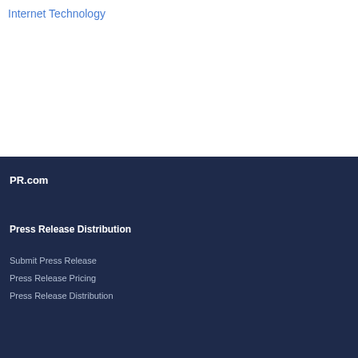Internet Technology
PR.com
Press Release Distribution
Submit Press Release
Press Release Pricing
Press Release Distribution